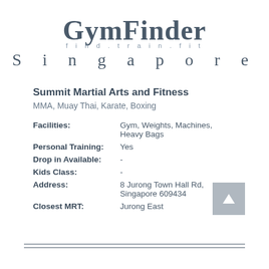GymFinder Singapore
Summit Martial Arts and Fitness
MMA, Muay Thai, Karate, Boxing
Facilities: Gym, Weights, Machines, Heavy Bags
Personal Training: Yes
Drop in Available: -
Kids Class: -
Address: 8 Jurong Town Hall Rd, Singapore 609434
Closest MRT: Jurong East